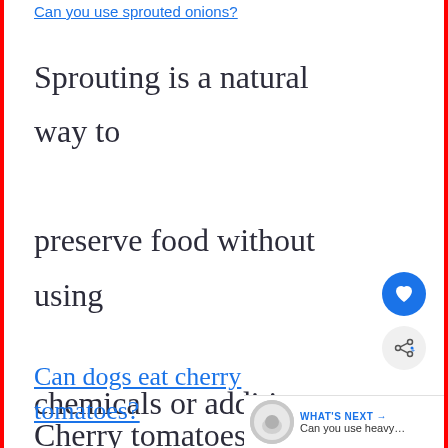Can you use sprouted onions?
Sprouting is a natural way to preserve food without using chemicals or additives. Sprouts are…
Can dogs eat cherry tomatoes?
Cherry tomatoes are delicious